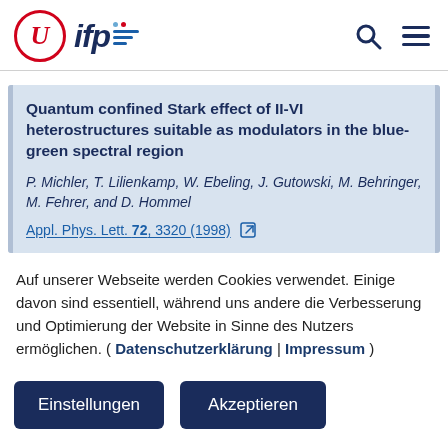ifp (Institute for Photogrammetry, University of Stuttgart) — logo and navigation
Quantum confined Stark effect of II-VI heterostructures suitable as modulators in the blue-green spectral region
P. Michler, T. Lilienkamp, W. Ebeling, J. Gutowski, M. Behringer, M. Fehrer, and D. Hommel
Appl. Phys. Lett. 72, 3320 (1998) [external link]
Auf unserer Webseite werden Cookies verwendet. Einige davon sind essentiell, während uns andere die Verbesserung und Optimierung der Website in Sinne des Nutzers ermöglichen. ( Datenschutzerklärung | Impressum )
Einstellungen
Akzeptieren